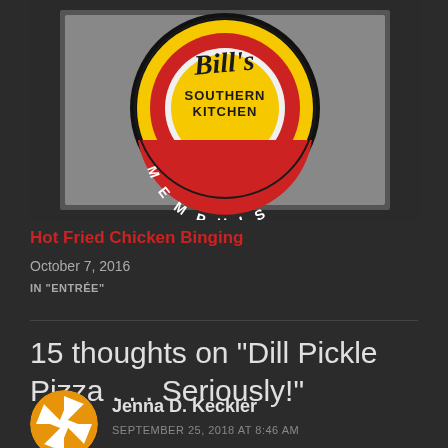[Figure (photo): Restaurant sign for a Southern Kitchen Memphis establishment. The sign is circular with yellow and red rings. Text reads 'SOUTHERN KITCHEN' at center and 'MEMPHIS' along the bottom arc. There is cursive script at the top partially cropped.]
Hot Fried Chicken Binging
October 7, 2016
IN "ENTRÉE"
15 thoughts on “Dill Pickle Pizza . . . Seriously!”
Jenna D. Keckler
SEPTEMBER 25, 2018 AT 8:46 AM